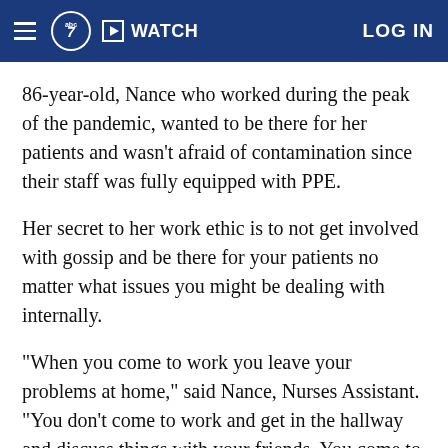abc7 | WATCH | LOG IN
86-year-old, Nance who worked during the peak of the pandemic, wanted to be there for her patients and wasn't afraid of contamination since their staff was fully equipped with PPE.
Her secret to her work ethic is to not get involved with gossip and be there for your patients no matter what issues you might be dealing with internally.
"When you come to work you leave your problems at home," said Nance, Nurses Assistant. "You don't come to work and get in the hallway and discuss things with your friends. You come to work, to work."